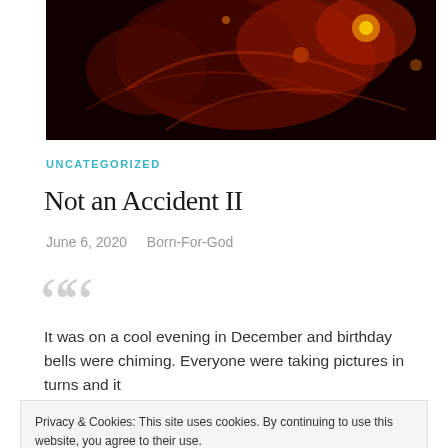[Figure (photo): Dark abstract photo with orange/red bokeh light effects on black background, partially visible at top of page]
UNCATEGORIZED
Not an Accident II
June 6, 2020   Born-For-God
It was on a cool evening in December and birthday bells were chiming. Everyone were taking pictures in turns and it
Privacy & Cookies: This site uses cookies. By continuing to use this website, you agree to their use.
To find out more, including how to control cookies, see here: Cookie Policy
Close and accept